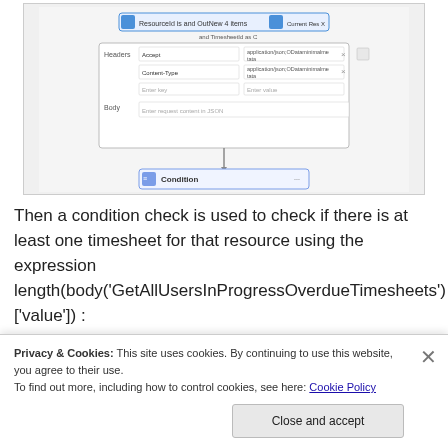[Figure (screenshot): Screenshot of a workflow diagram showing an HTTP request node with headers (Accept: application/json, Content-Type: application/json) and a body field, connected to a Condition node below via an arrow.]
Then a condition check is used to check if there is at least one timesheet for that resource using the expression length(body('GetAllUsersInProgressOverdueTimesheets')['value']) :
[Figure (photo): Tumblr banner image with colorful orange-to-pink gradient background, showing the Tumblr logo in large black letters, with illustrated characters including an octopus, leaf character, and decorative elements.]
Privacy & Cookies: This site uses cookies. By continuing to use this website, you agree to their use.
To find out more, including how to control cookies, see here: Cookie Policy
Close and accept